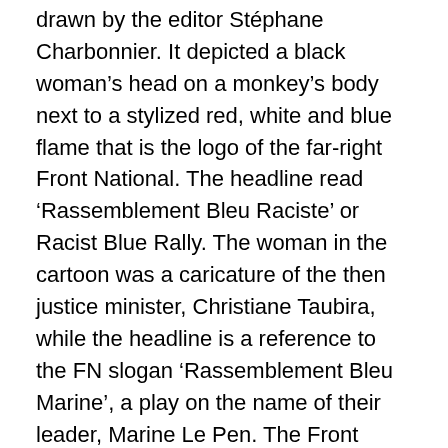drawn by the editor Stéphane Charbonnier. It depicted a black woman's head on a monkey's body next to a stylized red, white and blue flame that is the logo of the far-right Front National. The headline read 'Rassemblement Bleu Raciste' or Racist Blue Rally. The woman in the cartoon was a caricature of the then justice minister, Christiane Taubira, while the headline is a reference to the FN slogan 'Rassemblement Bleu Marine', a play on the name of their leader, Marine Le Pen. The Front National had recently compared Taubira to a monkey, publishing a photograph of a baby monkey with the words 'At 18 months' next to a picture of Taubira captioned 'Now'. The cartoon was not a racist assault on Taubira, but a condemnation of the Front National's racism. Taubira has, in fact, been one of the keenest defenders of Charlie Hebdo, giving a moving oration at the funeral of one of the slain cartoonists, Bernard Verlhac, who drew under the pen name Tignous